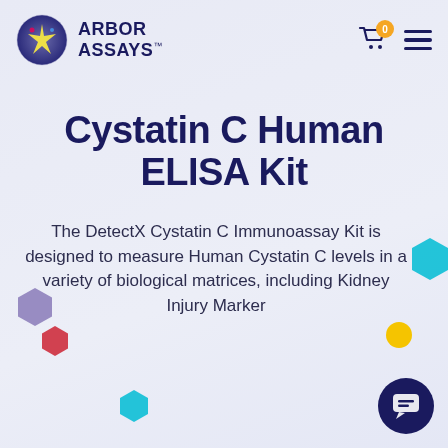[Figure (logo): Arbor Assays logo with circular starburst icon and company name]
Cystatin C Human ELISA Kit
The DetectX Cystatin C Immunoassay Kit is designed to measure Human Cystatin C levels in a variety of biological matrices, including Kidney Injury Marker
Most Sensitive
Order Now